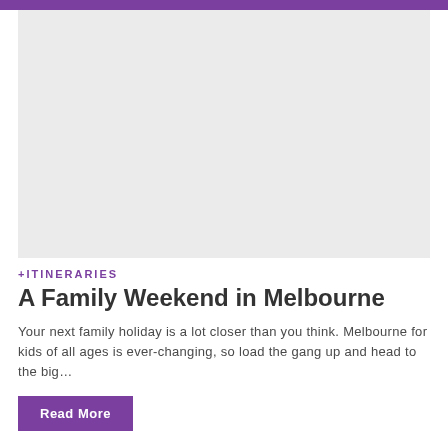[Figure (photo): Light grey placeholder image area for a family travel article about Melbourne]
+ITINERARIES
A Family Weekend in Melbourne
Your next family holiday is a lot closer than you think. Melbourne for kids of all ages is ever-changing, so load the gang up and head to the big…
Read More